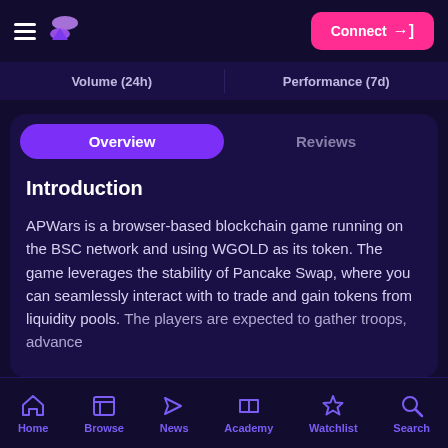Connect
| Volume (24h) | Performance (7d) |
| --- | --- |
Overview | Reviews
Introduction
APWars is a browser-based blockchain game running on the BSC network and using WGOLD as its token. The game leverages the stability of Pancake Swap, where you can seamlessly interact with to trade and gain tokens from liquidity pools. The players are expected to gather troops, advance
Home  Browse  News  Academy  Watchlist  Search